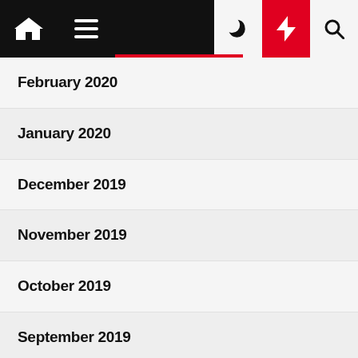Navigation bar with home, menu, moon, bolt, search icons
February 2020
January 2020
December 2019
November 2019
October 2019
September 2019
August 2019
July 2019
June 2019